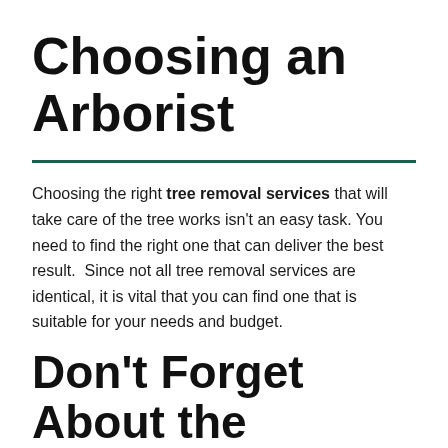Choosing an Arborist
Choosing the right tree removal services that will take care of the tree works isn't an easy task. You need to find the right one that can deliver the best result.  Since not all tree removal services are identical, it is vital that you can find one that is suitable for your needs and budget.
Don't Forget About the